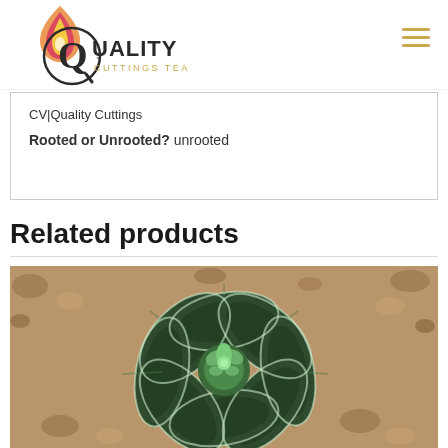Quality Cuttings Team logo and navigation
| CV|Quality Cuttings |
| Rooted or Unrooted? unrooted |
Related products
[Figure (photo): Succulent plant photographed from above showing a dark green rosette with white-edged leaves on a gravel background]